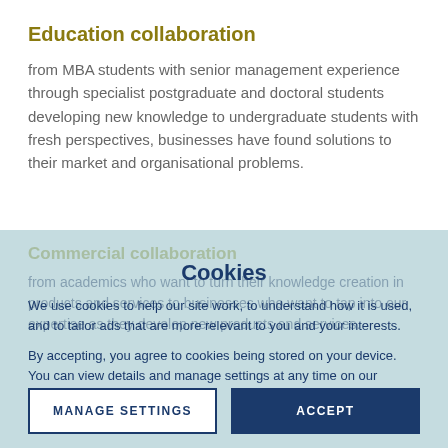Education collaboration
from MBA students with senior management experience through specialist postgraduate and doctoral students developing new knowledge to undergraduate students with fresh perspectives, businesses have found solutions to their market and organisational problems.
Commercial collaboration
from academics who want to turn their knowledge creation in products and services to businesses who want to tap into our expertise as they develop new products and services.
Cookies
We use cookies to help our site work, to understand how it is used, and to tailor ads that are more relevant to you and your interests.
By accepting, you agree to cookies being stored on your device. You can view details and manage settings at any time on our cookies policy page.
MANAGE SETTINGS
ACCEPT